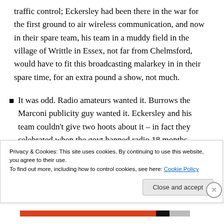traffic control; Eckersley had been there in the war for the first ground to air wireless communication, and now in their spare team, his team in a muddy field in the village of Writtle in Essex, not far from Chelmsford, would have to fit this broadcasting malarkey in in their spare time, for an extra pound a show, not much.
It was odd. Radio amateurs wanted it. Burrows the Marconi publicity guy wanted it. Eckersley and his team couldn't give two hoots about it – in fact they celebrated when the govt banned radio 18 months
Privacy & Cookies: This site uses cookies. By continuing to use this website, you agree to their use.
To find out more, including how to control cookies, see here: Cookie Policy